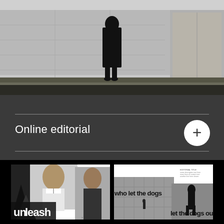[Figure (photo): Black and white photograph of a person in a long dark coat standing on grass in front of a concrete/wooden wall structure, silhouetted against a grey sky.]
Online editorial
[Figure (photo): Thumbnail spread of a fashion editorial titled 'unleash' showing two male models, one with curly hair in a polo shirt and another in dark clothing.]
[Figure (photo): Thumbnail spread of an editorial titled 'who let the dogs out' showing black and white images of a person walking in front of a building with large text overlay.]